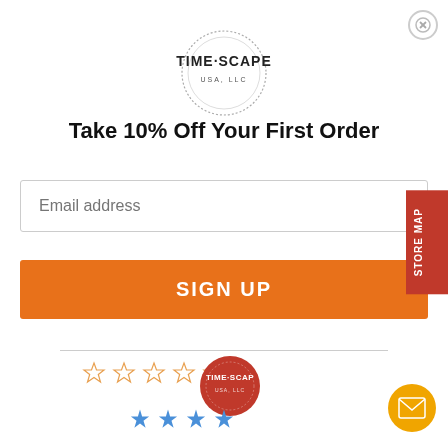[Figure (logo): TimeScape USA LLC circular logo with dotted border]
Take 10% Off Your First Order
Email address (input field placeholder)
SIGN UP (button)
[Figure (other): Five empty orange star rating icons]
[Figure (other): Store Map vertical tab on right side]
[Figure (other): TimeScape review widget with logo circle and four blue stars, plus orange mail icon button]